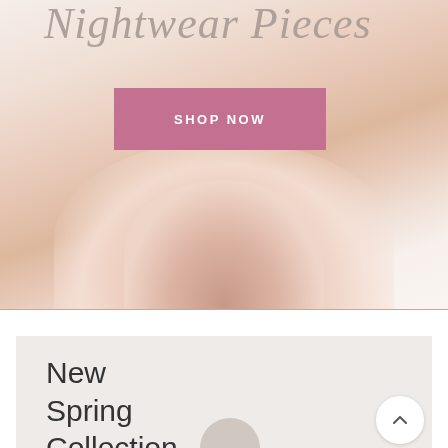Nightwear Pieces
SHOP NOW
[Figure (illustration): Blurred soft peach and beige background with a rounded organic shape suggesting fabric or clothing, forming the hero banner background]
New Spring Collection